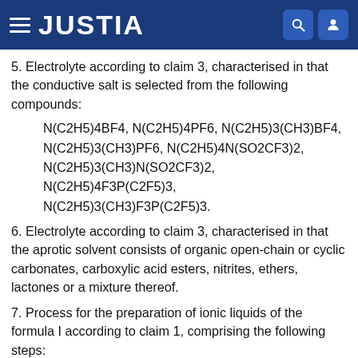JUSTIA
5. Electrolyte according to claim 3, characterised in that the conductive salt is selected from the following compounds:
N(C2H5)4BF4, N(C2H5)4PF6, N(C2H5)3(CH3)BF4, N(C2H5)3(CH3)PF6, N(C2H5)4N(SO2CF3)2, N(C2H5)3(CH3)N(SO2CF3)2, N(C2H5)4F3P(C2F5)3, N(C2H5)3(CH3)F3P(C2F5)3.
6. Electrolyte according to claim 3, characterised in that the aprotic solvent consists of organic open-chain or cyclic carbonates, carboxylic acid esters, nitrites, ethers, lactones or a mixture thereof.
7. Process for the preparation of ionic liquids of the formula I according to claim 1, comprising the following steps: